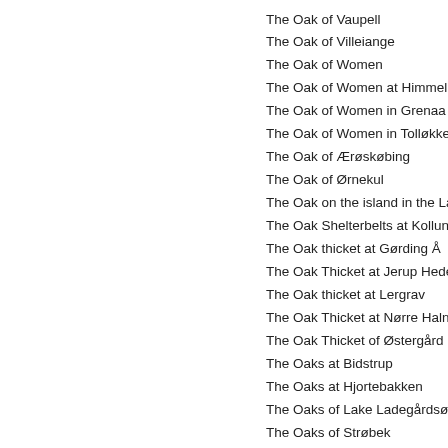The Oak of Vaupell
The Oak of Villeiange
The Oak of Women
The Oak of Women at Himmelbjerget
The Oak of Women in Grenaa (= The…
The Oak of Women in Tolløkke Fores…
The Oak of Ærøskøbing
The Oak of Ørnekul
The Oak on the island in the Lake of…
The Oak Shelterbelts at Kollund
The Oak thicket at Gørding Å
The Oak Thicket at Jerup Hede
The Oak thicket at Lergrav
The Oak Thicket at Nørre Halne
The Oak Thicket of Østergård
The Oaks at Bidstrup
The Oaks at Hjortebakken
The Oaks of Lake Ladegårdsøen
The Oaks of Strøbek
The Oaks of the Groom
The Oaks of Valdemar (= The Conto…
The Oaks on Stensbygaard Meadow…
The Oaks on the Alter of Odin